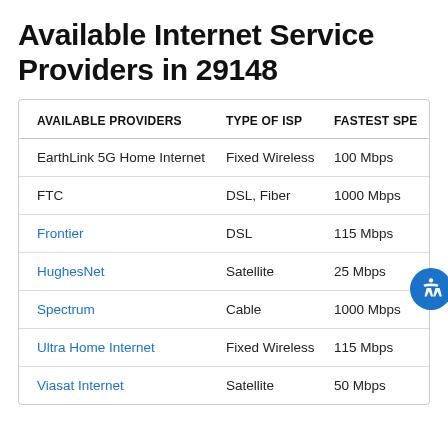Available Internet Service Providers in 29148
| AVAILABLE PROVIDERS | TYPE OF ISP | FASTEST SPE |
| --- | --- | --- |
| EarthLink 5G Home Internet | Fixed Wireless | 100 Mbps |
| FTC | DSL, Fiber | 1000 Mbps |
| Frontier | DSL | 115 Mbps |
| HughesNet | Satellite | 25 Mbps |
| Spectrum | Cable | 1000 Mbps |
| Ultra Home Internet | Fixed Wireless | 115 Mbps |
| Viasat Internet | Satellite | 50 Mbps |